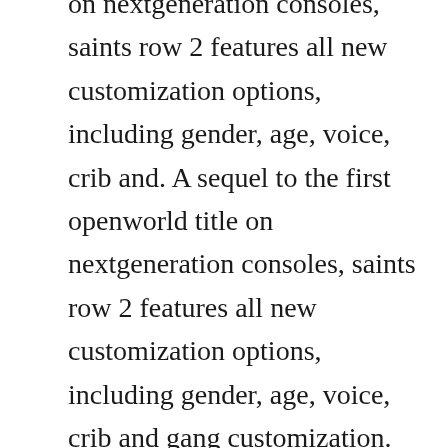on nextgeneration consoles, saints row 2 features all new customization options, including gender, age, voice, crib and. A sequel to the first openworld title on nextgeneration consoles, saints row 2 features all new customization options, including gender, age, voice, crib and gang customization.
This guide will show you how to unlock things in saints row 2, through cheat codes and other methods. You cant layer clothing, what little their is to choose from, tattoos are limited and you cant place them where ever